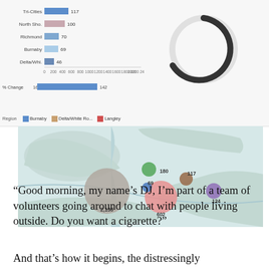[Figure (bar-chart): Homeless count by region]
[Figure (donut-chart): Donut/arc chart showing partial loading spinner]
[Figure (map): Bubble map showing homeless counts by region: 2,138 (large grey bubble), 602 (pink), 180 (green), 117 (brown), 69 (blue), 124 (purple)]
“Good morning, my name’s DJ, I’m part of a team of volunteers going around to chat with people living outside. Do you want a cigarette?”
And that’s how it begins, the distressingly